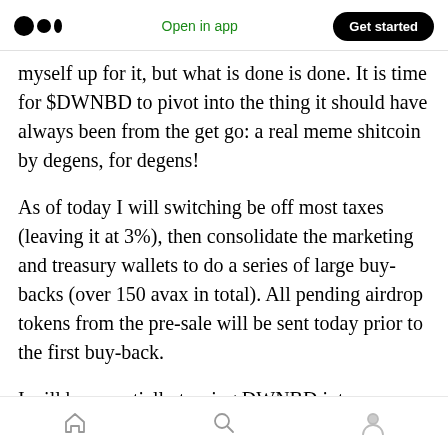Open in app | Get started
myself up for it, but what is done is done. It is time for $DWNBD to pivot into the thing it should have always been from the get go: a real meme shitcoin by degens, for degens!
As of today I will switching be off most taxes (leaving it at 3%), then consolidate the marketing and treasury wallets to do a series of large buy-backs (over 150 avax in total). All pending airdrop tokens from the pre-sale will be sent today prior to the first buy-back.
I will be essentially turning DWNBD into a meme
Home | Search | Profile